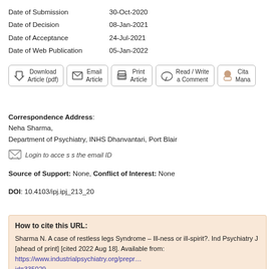Date of Submission   30-Oct-2020
Date of Decision   08-Jan-2021
Date of Acceptance   24-Jul-2021
Date of Web Publication   05-Jan-2022
[Figure (other): Row of action buttons: Download Article (pdf), Email Article, Print Article, Read / Write a Comment, Cita... Mana...]
Correspondence Address:
Neha Sharma,
Department of Psychiatry, INHS Dhanvantari, Port Blair
Login to access the email ID
Source of Support: None, Conflict of Interest: None
DOI: 10.4103/ipj.ipj_213_20
How to cite this URL:
Sharma N. A case of restless legs Syndrome – Ill-ness or ill-spirit?. Ind Psychiatry J [ahead of print] [cited 2022 Aug 18]. Available from: https://www.industrialpsychiatry.org/preprintarticle.asp?id=335029